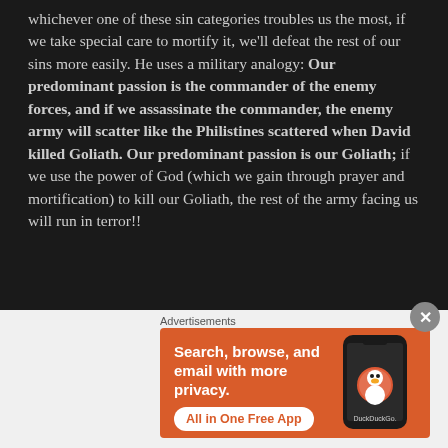Anyway, Richard Challoner starts out by telling us that whichever one of these sin categories troubles us the most, if we take special care to mortify it, we'll defeat the rest of our sins more easily. He uses a military analogy: Our predominant passion is the commander of the enemy forces, and if we assassinate the commander, the enemy army will scatter like the Philistines scattered when David killed Goliath. Our predominant passion is our Goliath; if we use the power of God (which we gain through prayer and mortification) to kill our Goliath, the rest of the army facing us will run in terror!!
[Figure (other): DuckDuckGo advertisement banner with orange background showing text 'Search, browse, and email with more privacy. All in One Free App' with a phone showing the DuckDuckGo app]